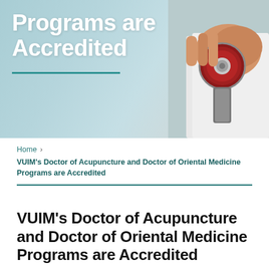[Figure (photo): Hero banner image showing a doctor in a white coat holding a red stethoscope, with a light blue/teal background. Overlaid white bold text reads 'Programs are Accredited' with a teal underline.]
Home ›
VUIM's Doctor of Acupuncture and Doctor of Oriental Medicine Programs are Accredited
VUIM's Doctor of Acupuncture and Doctor of Oriental Medicine Programs are Accredited